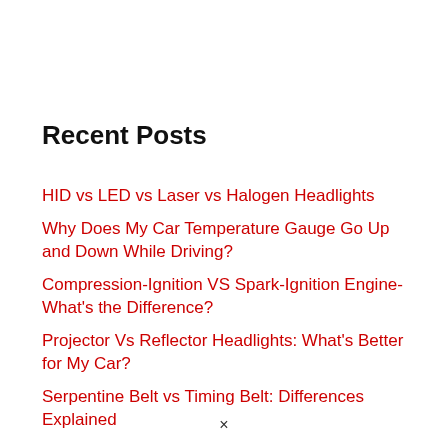Recent Posts
HID vs LED vs Laser vs Halogen Headlights
Why Does My Car Temperature Gauge Go Up and Down While Driving?
Compression-Ignition VS Spark-Ignition Engine- What's the Difference?
Projector Vs Reflector Headlights: What's Better for My Car?
Serpentine Belt vs Timing Belt: Differences Explained